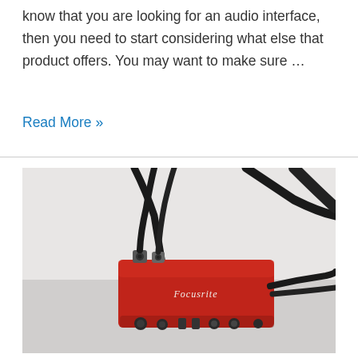know that you are looking for an audio interface, then you need to start considering what else that product offers. You may want to make sure …
Read More »
[Figure (photo): A red Focusrite audio interface (Scarlett series) viewed from above on a white surface, with black XLR and other cables connected to it.]